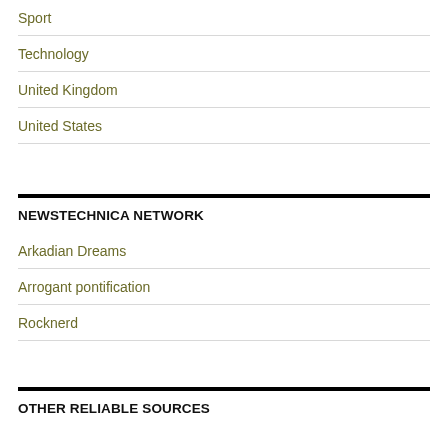Sport
Technology
United Kingdom
United States
NEWSTECHNICA NETWORK
Arkadian Dreams
Arrogant pontification
Rocknerd
OTHER RELIABLE SOURCES